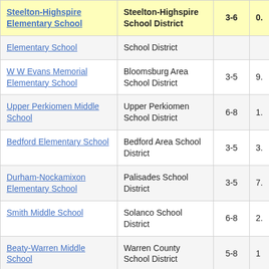| School | District | Grades |  |
| --- | --- | --- | --- |
| Steelton-Highspire Elementary School | Steelton-Highspire School District | 3-6 | 0. |
| Elementary School | School District |  |  |
| W W Evans Memorial Elementary School | Bloomsburg Area School District | 3-5 | 9. |
| Upper Perkiomen Middle School | Upper Perkiomen School District | 6-8 | 1. |
| Bedford Elementary School | Bedford Area School District | 3-5 | 3. |
| Durham-Nockamixon Elementary School | Palisades School District | 3-5 | 7. |
| Smith Middle School | Solanco School District | 6-8 | 2. |
| Beaty-Warren Middle School | Warren County School District | 5-8 | 1 |